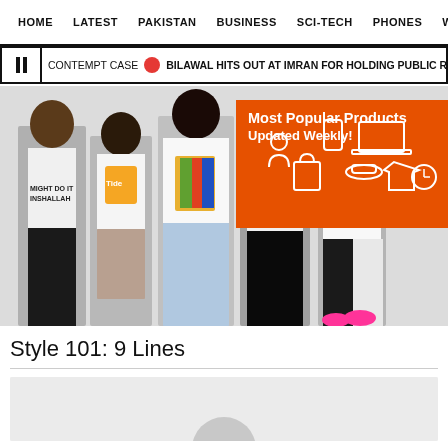HOME  LATEST  PAKISTAN  BUSINESS  SCI-TECH  PHONES  W ☰
❚❚  CONTEMPT CASE  🔴  BILAWAL HITS OUT AT IMRAN FOR HOLDING PUBLIC RALLIES D...
[Figure (photo): Group of young fashion models wearing graphic t-shirts, denim shorts and jeans, with an orange advertisement overlay reading 'Most Popular Products Updated Weekly!']
Style 101: 9 Lines
[Figure (photo): Author profile image area, partially visible at bottom of page, light grey background with circular avatar placeholder]